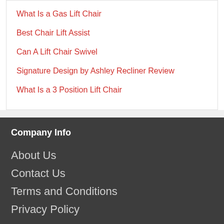What Is a Gas Lift Chair
Best Chair Lift Assist
Can A Lift Chair Swivel
Signature Design by Ashley Recliner Review
What Is a 3 Position Lift Chair
Company Info
About Us
Contact Us
Terms and Conditions
Privacy Policy